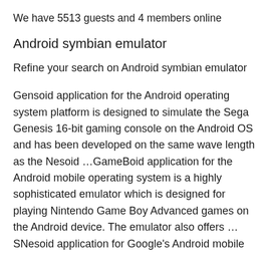We have 5513 guests and 4 members online
Android symbian emulator
Refine your search on Android symbian emulator
Gensoid application for the Android operating system platform is designed to simulate the Sega Genesis 16-bit gaming console on the Android OS and has been developed on the same wave length as the Nesoid …GameBoid application for the Android mobile operating system is a highly sophisticated emulator which is designed for playing Nintendo Game Boy Advanced games on the Android device. The emulator also offers … SNesoid application for Google's Android mobile